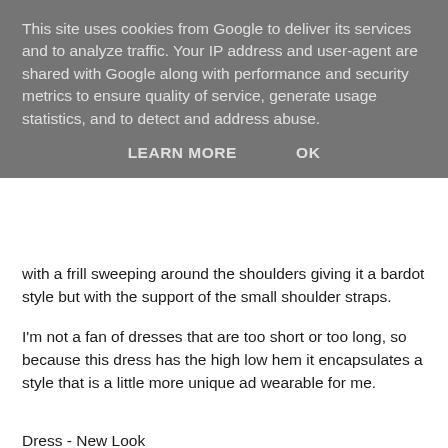This site uses cookies from Google to deliver its services and to analyze traffic. Your IP address and user-agent are shared with Google along with performance and security metrics to ensure quality of service, generate usage statistics, and to detect and address abuse.
LEARN MORE   OK
with a frill sweeping around the shoulders giving it a bardot style but with the support of the small shoulder straps.
I'm not a fan of dresses that are too short or too long, so because this dress has the high low hem it encapsulates a style that is a little more unique ad wearable for me.
Dress - New Look
Sandals - Primark
Bikini - Victoria Secret
Please check ou my instagram and other social accounts to connect with me <3